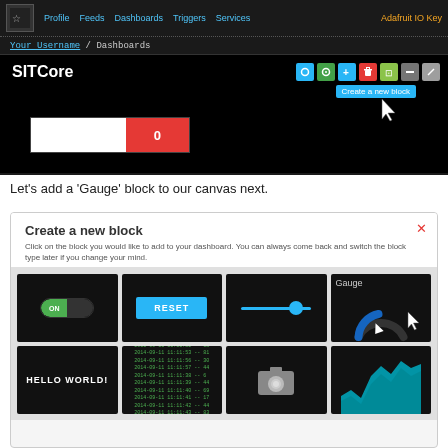[Figure (screenshot): Adafruit IO dashboard screenshot showing SITCore dashboard with a toggle/progress block displaying 0 in red, and a toolbar with colored icon buttons. A tooltip 'Create a new block' is visible with a cursor pointer.]
Let's add a 'Gauge' block to our canvas next.
[Figure (screenshot): Modal dialog 'Create a new block' with subtitle text. Shows 8 block type options in a grid: ON toggle switch, RESET button, slider, Gauge (with cursor), HELLO WORLD text block, data log block with green text, camera icon block, and area chart block.]